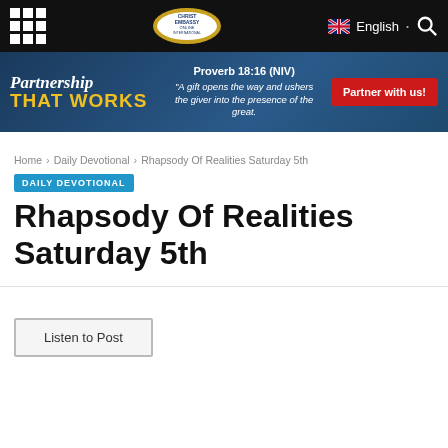[Figure (screenshot): Navigation bar with grid icon, Christ Embassy Online International logo, English flag and search icon]
[Figure (infographic): Partnership That Works banner with Proverb 18:16 (NIV) quote and Partner with us button]
Home › Daily Devotional › Rhapsody Of Realities Saturday 5th
DAILY DEVOTIONAL
Rhapsody Of Realities Saturday 5th
Listen to Post